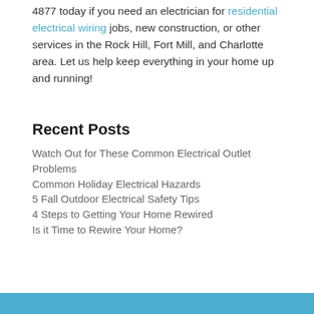4877 today if you need an electrician for residential electrical wiring jobs, new construction, or other services in the Rock Hill, Fort Mill, and Charlotte area. Let us help keep everything in your home up and running!
Recent Posts
Watch Out for These Common Electrical Outlet Problems
Common Holiday Electrical Hazards
5 Fall Outdoor Electrical Safety Tips
4 Steps to Getting Your Home Rewired
Is it Time to Rewire Your Home?